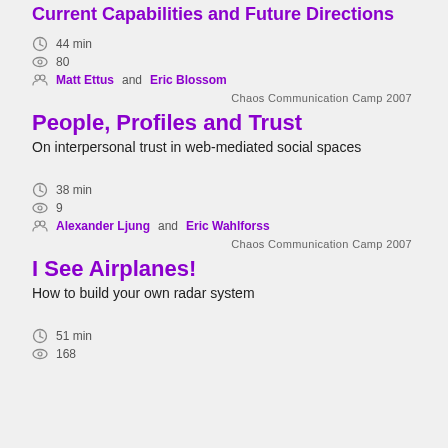Current Capabilities and Future Directions
44 min
80
Matt Ettus and Eric Blossom
Chaos Communication Camp 2007
People, Profiles and Trust
On interpersonal trust in web-mediated social spaces
38 min
9
Alexander Ljung and Eric Wahlforss
Chaos Communication Camp 2007
I See Airplanes!
How to build your own radar system
51 min
168